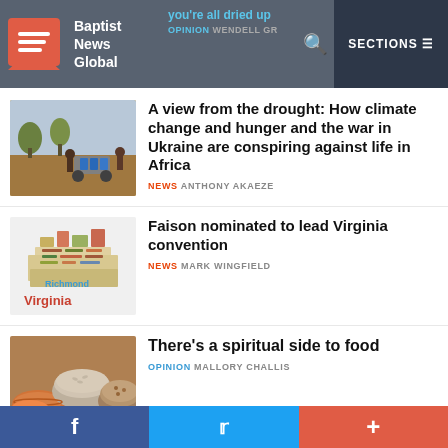Baptist News Global
you're all dried up  OPINION WENDELL GRIFF...
[Figure (photo): People gathered around a cart with blue jerrycans in a drought-stricken African landscape]
A view from the drought: How climate change and hunger and the war in Ukraine are conspiring against life in Africa
NEWS ANTHONY AKAEZE
[Figure (illustration): Word cloud in the shape of the state of Virginia with Richmond highlighted]
Faison nominated to lead Virginia convention
NEWS MARK WINGFIELD
[Figure (photo): Bowls of various grains and foods on a table]
There's a spiritual side to food
OPINION MALLORY CHALLIS
f  Twitter  +